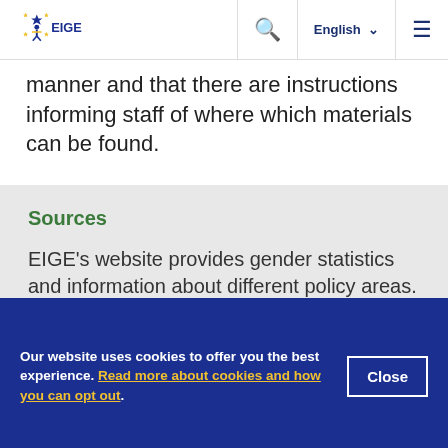EIGE | English
manner and that there are instructions informing staff of where which materials can be found.
Sources
EIGE's website provides gender statistics and information about different policy areas. The European Commission's
Our website uses cookies to offer you the best experience. Read more about cookies and how you can opt out.